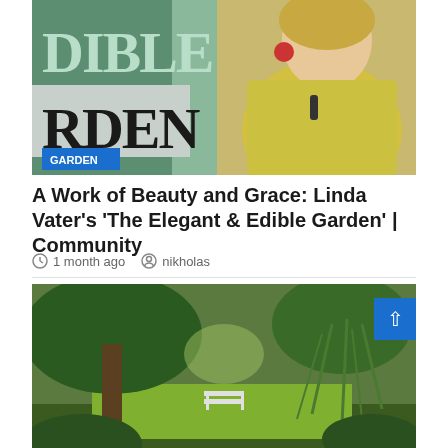[Figure (photo): Top image showing a book/TV show title 'Edible Garden' with large text on left side over green background, and a woman in a yellow sweater with red earrings smiling on the right. Blue badge reads 'GARDEN'.]
A Work of Beauty and Grace: Linda Vater’s ‘The Elegant & Edible Garden’ | Community
1 month ago   nikholas
[Figure (photo): Lush green garden landscape with large weeping trees, sunlight filtering through, and a white bench visible in the background.]